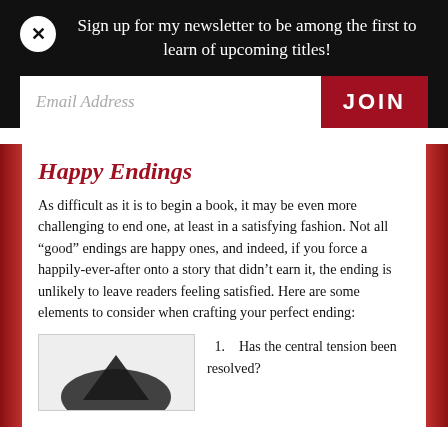Sign up for my newsletter to be among the first to learn of upcoming titles!
Happy Endings
As difficult as it is to begin a book, it may be even more challenging to end one, at least in a satisfying fashion. Not all “good” endings are happy ones, and indeed, if you force a happily-ever-after onto a story that didn’t earn it, the ending is unlikely to leave readers feeling satisfied. Here are some elements to consider when crafting your perfect ending:
1. Has the central tension been resolved?
[Figure (illustration): Partial image visible at bottom left, appears to show a dark silhouette (possibly a bird or arrow shape) against a light background]